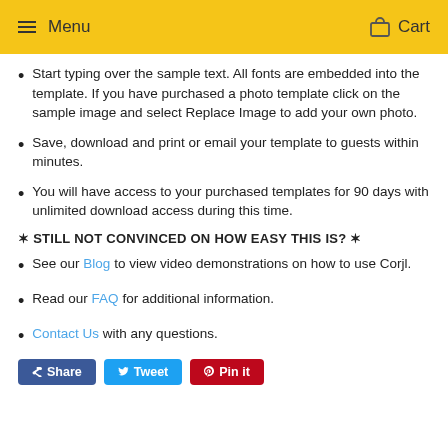Menu   Cart
Start typing over the sample text. All fonts are embedded into the template. If you have purchased a photo template click on the sample image and select Replace Image to add your own photo.
Save, download and print or email your template to guests within minutes.
You will have access to your purchased templates for 90 days with unlimited download access during this time.
✶ STILL NOT CONVINCED ON HOW EASY THIS IS? ✶
See our Blog to view video demonstrations on how to use Corjl.
Read our FAQ for additional information.
Contact Us with any questions.
Share  Tweet  Pin it